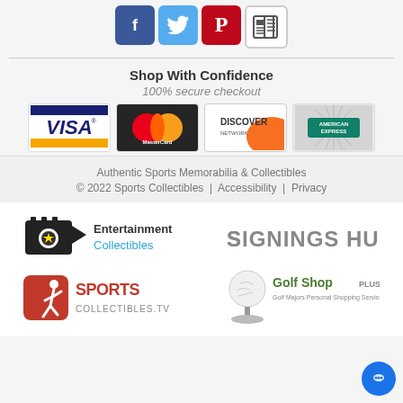[Figure (other): Social media icons: Facebook (blue), Twitter (light blue), Pinterest (red), News/Blog (white with newspaper icon)]
Shop With Confidence
100% secure checkout
[Figure (other): Payment method logos: Visa, MasterCard, Discover Network, American Express]
Authentic Sports Memorabilia & Collectibles
© 2022 Sports Collectibles | Accessibility | Privacy
[Figure (logo): Entertainment Collectibles logo with camera/star icon]
[Figure (logo): SIGNINGS HUB logo in grey text]
[Figure (logo): Sports Collectibles TV logo - red square with athlete icon]
[Figure (logo): Golf Shop Plus logo with golf ball on tee]